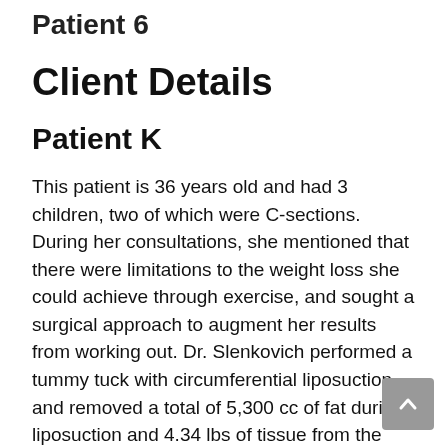Patient 6
Client Details
Patient K
This patient is 36 years old and had 3 children, two of which were C-sections. During her consultations, she mentioned that there were limitations to the weight loss she could achieve through exercise, and sought a surgical approach to augment her results from working out. Dr. Slenkovich performed a tummy tuck with circumferential liposuction, and removed a total of 5,300 cc of fat during liposuction and 4.34 lbs of tissue from the abdominal area during the tummy tuck. At the time of surgery she was 36 years old